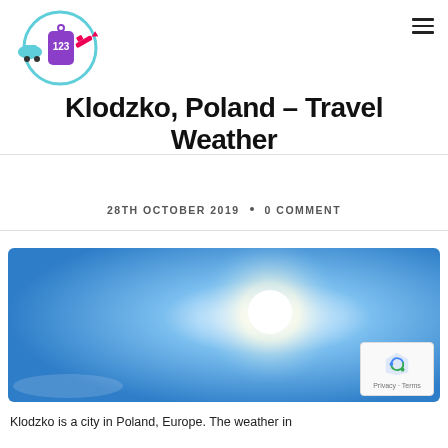Travel blog header with logo and navigation menu icon
Klodzko, Poland – Travel Weather
28TH OCTOBER 2019 · 0 COMMENT
[Figure (photo): Bright blue sky with a large glowing white sun in the center]
Klodzko is a city in Poland, Europe. The weather in